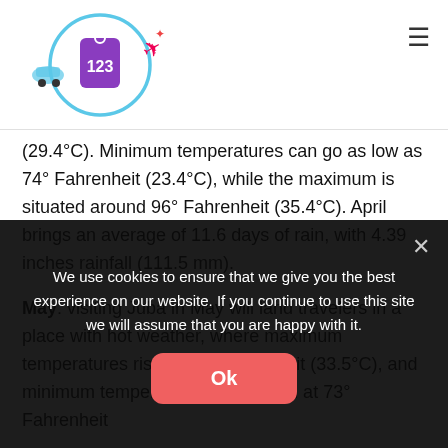[Figure (logo): Travel website logo with circular design featuring a car, airplane, and a purple price tag icon with text '123' inside a blue circular outline, on white background]
(29.4°C). Minimum temperatures can go as low as 74° Fahrenheit (23.4°C), while the maximum is situated around 96° Fahrenheit (35.4°C). April brings an average of 11.6 days of rain, with 4.39 inches rainfall (111.5 mm).
May: visiting Juba in May will land travelers in a place with hot weather, where maximum temperatures rise to 92° Fahrenheit (33.5°C), and minimum temperatures are around at 73° Fahrenheit
We use cookies to ensure that we give you the best experience on our website. If you continue to use this site we will assume that you are happy with it.